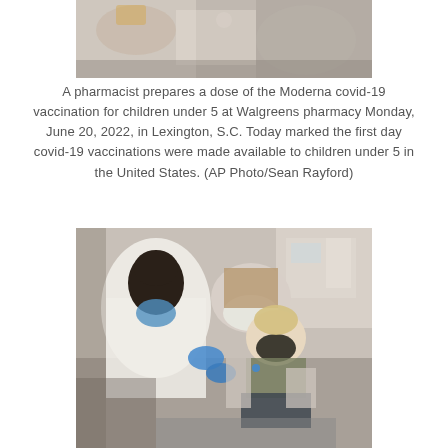[Figure (photo): Top portion of a photo showing a pharmacist preparing a dose of Moderna covid-19 vaccine, cropped view of hands and upper body area at Walgreens pharmacy.]
A pharmacist prepares a dose of the Moderna covid-19 vaccination for children under 5 at Walgreens pharmacy Monday, June 20, 2022, in Lexington, S.C. Today marked the first day covid-19 vaccinations were made available to children under 5 in the United States. (AP Photo/Sean Rayford)
[Figure (photo): A pharmacist in a white coat wearing a blue surgical mask administers a covid-19 vaccine to a young blonde child wearing a black mask, while the child's mother, wearing a white N95 mask, holds the child on her lap in a medical office setting.]